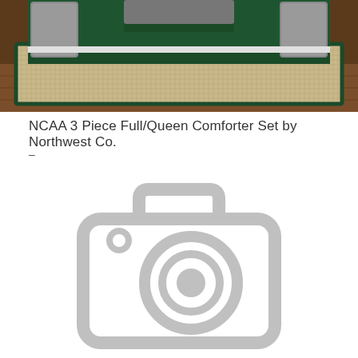[Figure (photo): NCAA comforter set displayed on a bed with dark green bedding and gray pillows on a woven rug, wooden floor background.]
NCAA 3 Piece Full/Queen Comforter Set by Northwest Co.
-
[Figure (illustration): Gray placeholder camera icon indicating no image available.]